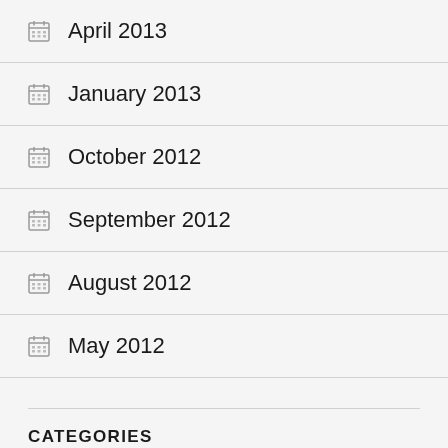April 2013
January 2013
October 2012
September 2012
August 2012
May 2012
CATEGORIES